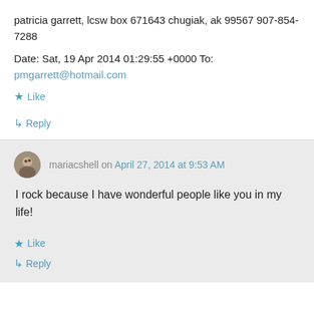patricia garrett, lcsw box 671643 chugiak, ak 99567 907-854-7288
Date: Sat, 19 Apr 2014 01:29:55 +0000 To: pmgarrett@hotmail.com
★ Like
↳ Reply
mariacshell on April 27, 2014 at 9:53 AM
I rock because I have wonderful people like you in my life!
★ Like
↳ Reply